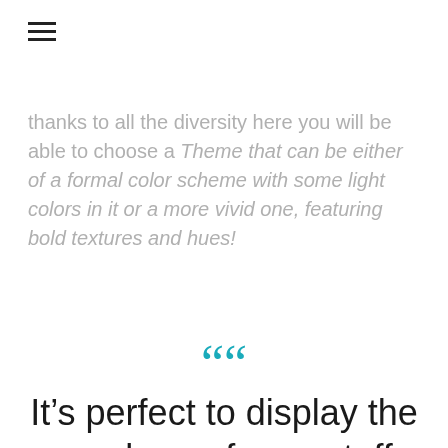≡
thanks to all the diversity here you will be able to choose a Theme that can be either of a formal color scheme with some light colors in it or a more vivid one, featuring bold textures and hues!
““
It’s perfect to display the members of your staff, team or working force. Within Monstroid theme you